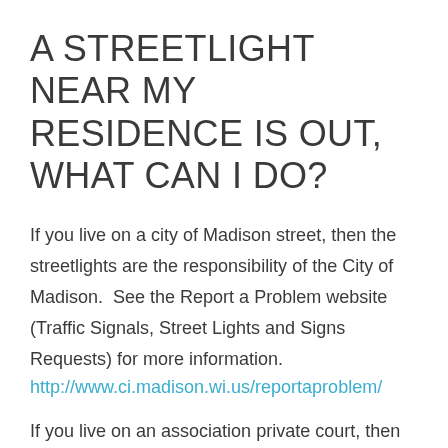A STREETLIGHT NEAR MY RESIDENCE IS OUT, WHAT CAN I DO?
If you live on a city of Madison street, then the streetlights are the responsibility of the City of Madison.  See the Report a Problem website (Traffic Signals, Street Lights and Signs Requests) for more information.
http://www.ci.madison.wi.us/reportaproblem/
If you live on an association private court, then